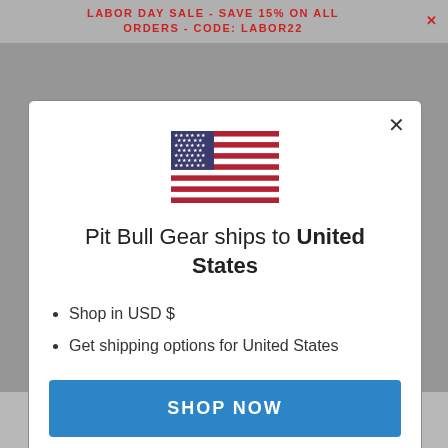LABOR DAY SALE - SAVE 15% ON ALL ORDERS - CODE: LABOR22
[Figure (illustration): US flag emoji/illustration centered in modal]
Pit Bull Gear ships to United States
Shop in USD $
Get shipping options for United States
SHOP NOW
CHANGE SHIPPING COUNTRY
Etched Plate